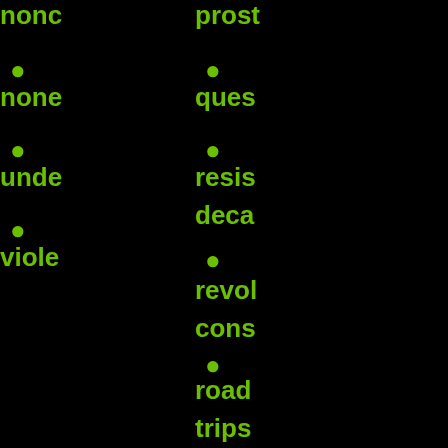nonc
prost
none
ques
unde
resis
viole
deca
revol
cons
road
trips
sexua
slave
size
diffe
some